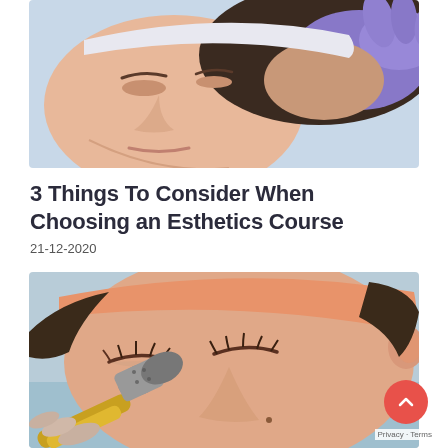[Figure (photo): Person lying down receiving a facial or skin treatment from a practitioner wearing purple/lavender latex gloves, light blue background]
3 Things To Consider When Choosing an Esthetics Course
21-12-2020
[Figure (photo): Young woman with closed eyes wearing an orange/peach headband receiving a derma roller / microneedling facial treatment, light blue background, red scroll-to-top button and Google privacy overlay visible]